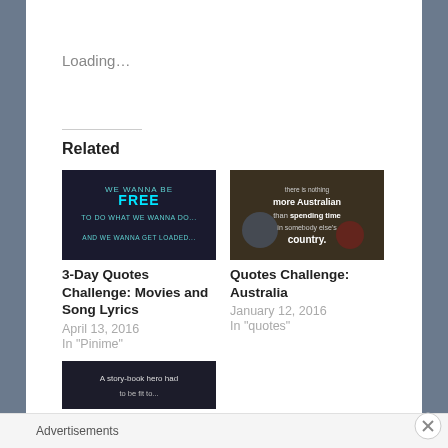Loading…
Related
[Figure (screenshot): Dark background image with cyan neon text: 'WE WANNA BE FREE TO DO WHAT WE WANNA DO. AND WE WANNA GET LOADED...']
3-Day Quotes Challenge: Movies and Song Lyrics
April 13, 2016
In "Pinime"
[Figure (screenshot): Dark background image with white text: 'there is nothing more Australian than spending time in somebody else's country.']
Quotes Challenge: Australia
January 12, 2016
In "quotes"
[Figure (screenshot): Dark image with text starting: 'A story-book hero had...']
Advertisements